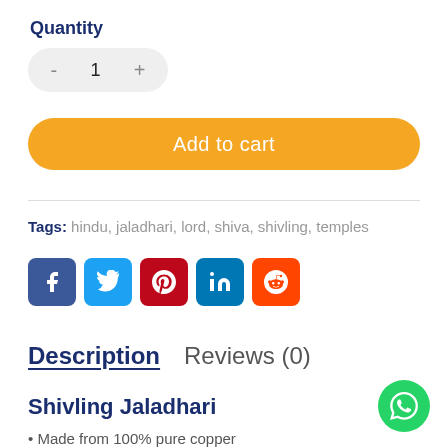Quantity
- 1 +
Add to cart
Tags: hindu, jaladhari, lord, shiva, shivling, temples
[Figure (infographic): Social share icons: Facebook, Twitter, Pinterest, LinkedIn, Reddit]
Description   Reviews (0)
Shivling Jaladhari
Made from 100% pure copper